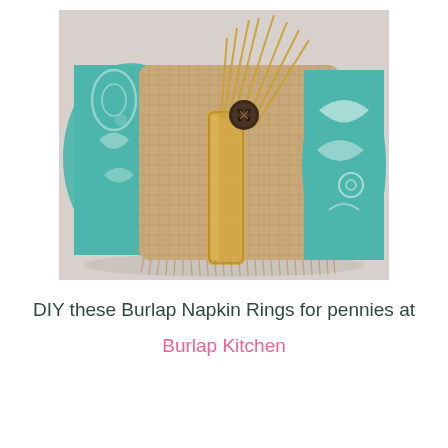[Figure (photo): A burlap napkin ring rolled around a teal/turquoise patterned napkin, tied with a natural raffia or bamboo ring, a dark button accent, and several dried grass/straw stems fanned out on top. The item rests on a light gray surface.]
DIY these Burlap Napkin Rings for pennies at
Burlap Kitchen